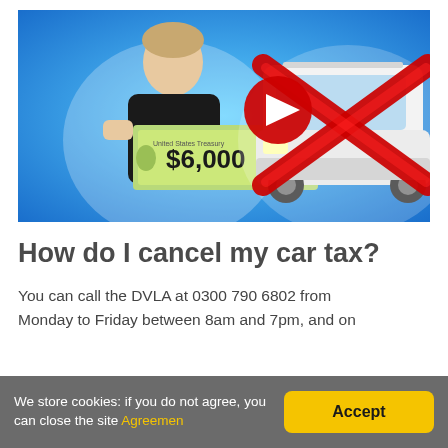[Figure (screenshot): YouTube thumbnail showing a man holding a $6,000 US Treasury check with a white SUV behind him and a large red X and YouTube play button overlaid on the image. Blue glowing background.]
How do I cancel my car tax?
You can call the DVLA at 0300 790 6802 from Monday to Friday between 8am and 7pm, and on
We store cookies: if you do not agree, you can close the site Agreemen